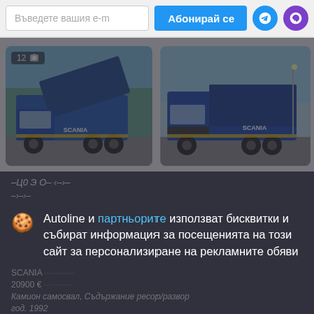Въведете вашия е-m | Абонирай се
[Figure (photo): Blue Scania dump truck with tipper body raised, parked outdoors. Badge showing 12 photos.]
[Figure (photo): Blue Scania truck front view parked outdoors.]
Autoline и партньорите използват бисквитки и събират информация за посещенията на този сайт за персонализиране на рекламните обяви
По-подробно
Съгласяване и затваряне